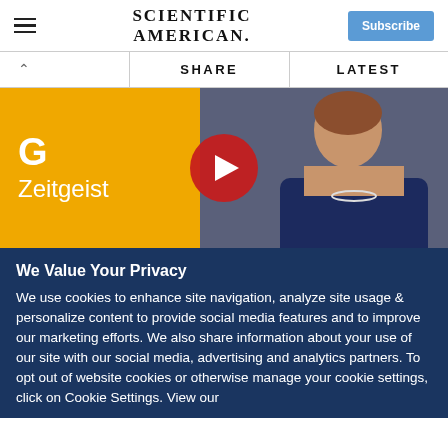Scientific American — Subscribe
SHARE   LATEST
[Figure (screenshot): Video thumbnail showing Google Zeitgeist branding on left (yellow background with G logo and 'Zeitgeist' text) and a woman in a blue blazer on the right, with a YouTube play button overlay in the center]
We Value Your Privacy
We use cookies to enhance site navigation, analyze site usage & personalize content to provide social media features and to improve our marketing efforts. We also share information about your use of our site with our social media, advertising and analytics partners. To opt out of website cookies or otherwise manage your cookie settings, click on Cookie Settings. View our